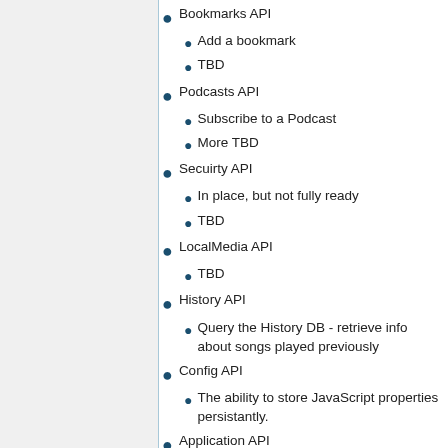Bookmarks API
Add a bookmark
TBD
Podcasts API
Subscribe to a Podcast
More TBD
Secuirty API
In place, but not fully ready
TBD
LocalMedia API
TBD
History API
Query the History DB - retrieve info about songs played previously
Config API
The ability to store JavaScript properties persistantly.
Application API
Launch the internal Winamp browser.